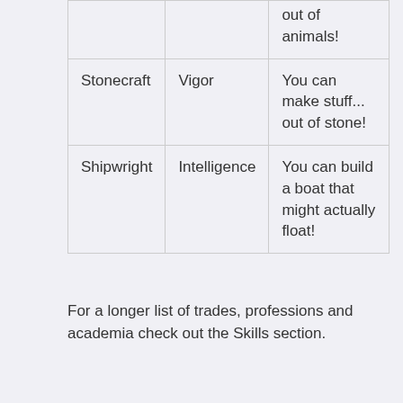|  |  | out of animals! |
| Stonecraft | Vigor | You can make stuff... out of stone! |
| Shipwright | Intelligence | You can build a boat that might actually float! |
For a longer list of trades, professions and academia check out the Skills section.